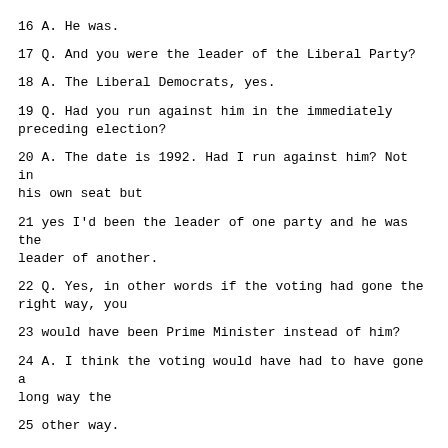16 A. He was.
17 Q. And you were the leader of the Liberal Party?
18 A. The Liberal Democrats, yes.
19 Q. Had you run against him in the immediately preceding election?
20 A. The date is 1992. Had I run against him? Not in his own seat but
21 yes I'd been the leader of one party and he was the leader of another.
22 Q. Yes, in other words if the voting had gone the right way, you
23 would have been Prime Minister instead of him?
24 A. I think the voting would have had to have gone a long way the
25 other way.
Page 12398
1 Q. You're right but it was possible?
2 A. I don't think there are many political commentators in Britain who